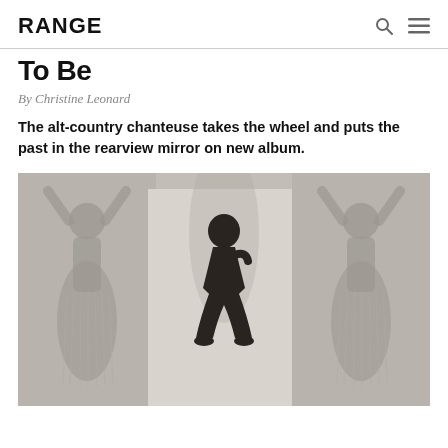RANGE
To Be
By Christine Leonard
The alt-country chanteuse takes the wheel and puts the past in the rearview mirror on new album.
[Figure (photo): Three-panel artistic photograph of a dark-skinned woman. Left and right panels show her silhouette from behind with arms raised overhead, wearing a pleated skirt, in muted grey tones. Center panel shows her crouching in a pose, dark figure against a lighter rectangular background.]